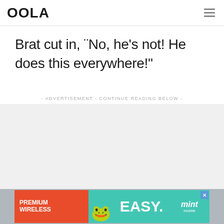OOLA
Brat cut in, "No, he's not! He does this everywhere!"
- ADVERTISEMENT - CONTINUE READING BELOW -
[Figure (other): Gray advertisement placeholder area]
CONTINUE READING BELOW
[Figure (other): Mint Mobile advertisement banner: PREMIUM WIRELESS | EASY. | mint mobile]